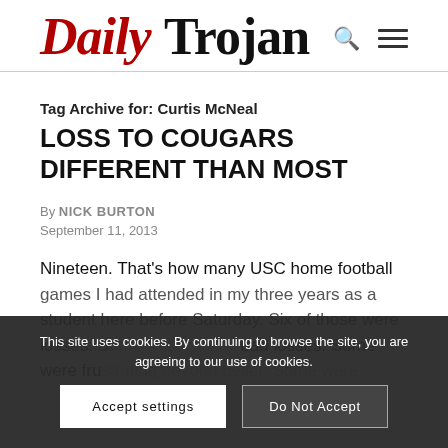Daily Trojan
Tag Archive for: Curtis McNeal
LOSS TO COUGARS DIFFERENT THAN MOST
By NICK BURTON
September 11, 2013
Nineteen. That's how many USC home football games I had attended in my three years as a student here before Saturday. Six of those were losses. Some were bad losses. Some were frustrating beyond belief. Some were
This site uses cookies. By continuing to browse the site, you are agreeing to our use of cookies.